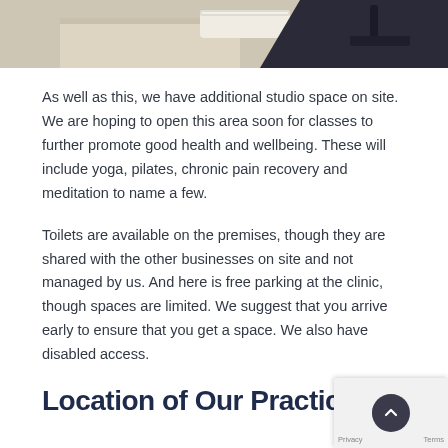[Figure (photo): Partial view of a medical examination room with a treatment table/bench and equipment, beige/neutral tones]
As well as this, we have additional studio space on site. We are hoping to open this area soon for classes to further promote good health and wellbeing. These will include yoga, pilates, chronic pain recovery and meditation to name a few.
Toilets are available on the premises, though they are shared with the other businesses on site and not managed by us. And here is free parking at the clinic, though spaces are limited. We suggest that you arrive early to ensure that you get a space. We also have disabled access.
Location of Our Practice